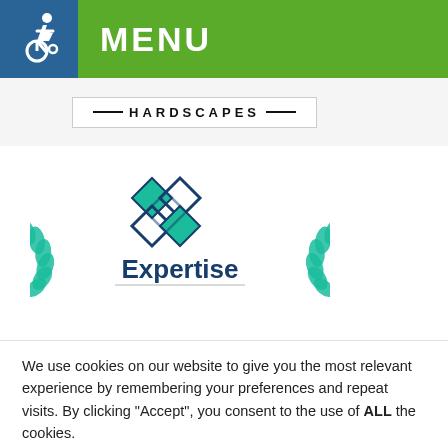MENU
[Figure (logo): Hardscapes logo banner with dashes on either side of the word HARDSCAPES]
[Figure (logo): Expertise award logo with teal diamond pattern and laurel wreath]
We use cookies on our website to give you the most relevant experience by remembering your preferences and repeat visits. By clicking “Accept”, you consent to the use of ALL the cookies.
Cookie settings
ACCEPT